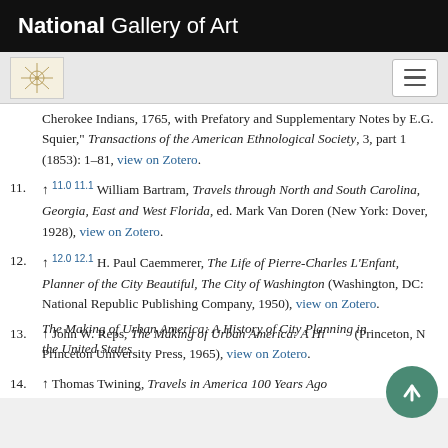National Gallery of Art
Cherokee Indians, 1765, with Prefatory and Supplementary Notes by E.G. Squier," Transactions of the American Ethnological Society, 3, part 1 (1853): 1–81, view on Zotero.
11. ↑ 11.0 11.1 William Bartram, Travels through North and South Carolina, Georgia, East and West Florida, ed. Mark Van Doren (New York: Dover, 1928), view on Zotero.
12. ↑ 12.0 12.1 H. Paul Caemmerer, The Life of Pierre-Charles L'Enfant, Planner of the City Beautiful, The City of Washington (Washington, DC: National Republic Publishing Company, 1950), view on Zotero.
13. ↑ John W. Reps, The Making of Urban America: A History of City Planning in the United States (Princeton, NJ: Princeton University Press, 1965), view on Zotero.
14. ↑ Thomas Twining, Travels in America 100 Years Ago